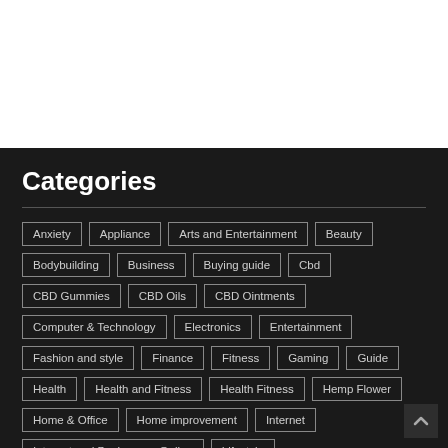Categories
Anxiety
Appliance
Arts and Entertainment
Beauty
Bodybuilding
Business
Buying guide
Cbd
CBD Gummies
CBD Oils
CBD Ointments
Computer & Technology
Electronics
Entertainment
Fashion and style
Finance
Fitness
Gaming
Guide
Health
Health and Fitness
Health Fitness
Hemp Flower
Home & Office
Home improvement
Internet
Internet and Businesses Online
Lifestyle